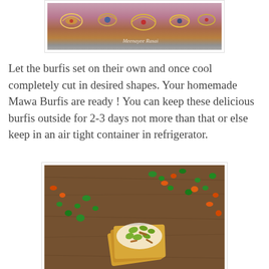[Figure (photo): Decorative embroidered fabric with floral patterns in pink, gold, blue and brown tones. Watermark text 'Meenayee Rasai' visible.]
Let the burfis set on their own and once cool completely cut in desired shapes. Your homemade Mawa Burfis are ready ! You can keep these delicious burfis outside for 2-3 days not more than that or else keep in an air tight container in refrigerator.
[Figure (photo): Mawa Burfis topped with green pistachios and almonds on a wooden surface scattered with orange and green candy decorations.]